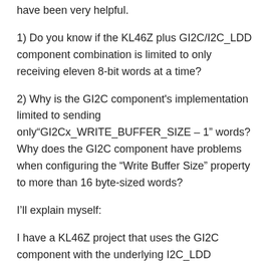have been very helpful.
1) Do you know if the KL46Z plus GI2C/I2C_LDD component combination is limited to only receiving eleven 8-bit words at a time?
2) Why is the GI2C component's implementation limited to sending only"GI2Cx_WRITE_BUFFER_SIZE – 1" words? Why does the GI2C component have problems when configuring the "Write Buffer Size" property to more than 16 byte-sized words?
I'll explain myself:
I have a KL46Z project that uses the GI2C component with the underlying I2C_LDD